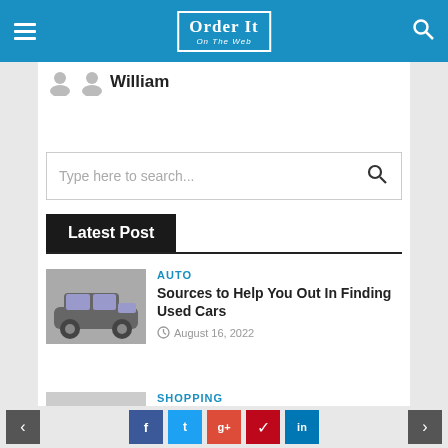Order It On The Web — navigation bar
William
Type here to search...
Latest Post
AUTO
Sources to Help You Out In Finding Used Cars
August 16, 2022
[Figure (photo): Silver/grey sedan car photo thumbnail]
SHOPPING
How to Choose the Right CBD Vape Cartridge
[Figure (photo): Hand holding a CBD vape cartridge thumbnail]
< [prev] [facebook] [twitter] [google+] [pinterest] [linkedin] [next] >